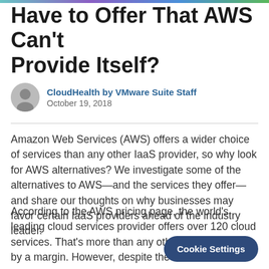Have to Offer That AWS Can't Provide Itself?
CloudHealth by VMware Suite Staff
October 19, 2018
Amazon Web Services (AWS) offers a wider choice of services than any other IaaS provider, so why look for AWS alternatives? We investigate some of the alternatives to AWS—and the services they offer—and share our thoughts on why businesses may favor certain IaaS providers ahead of the industry leader.
According to the AWS pricing page, the world's leading cloud services provider offers over 120 cloud services. That's more than any other IaaS provider by a margin. However, despite the choice of